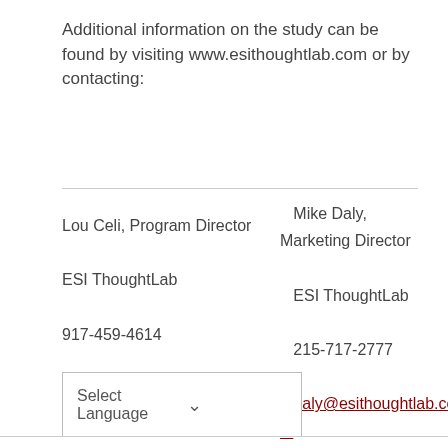Additional information on the study can be found by visiting www.esithoughtlab.com or by contacting:
Lou Celi, Program Director
ESI ThoughtLab
917-459-4614
Lceli@esithoughtlab.com
Mike Daly, Marketing Director
ESI ThoughtLab
215-717-2777
Mdaly@esithoughtlab.com
Select Language